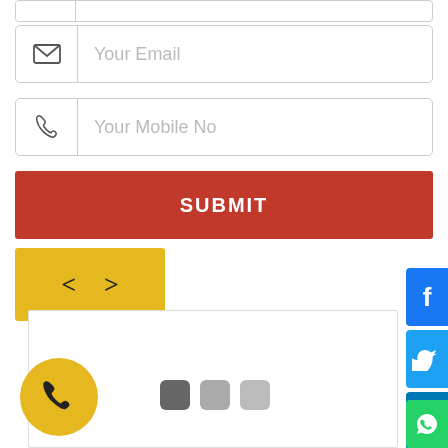[Figure (screenshot): Web form with email input field showing envelope icon and placeholder 'Your Email', mobile number input field showing phone icon and placeholder 'Your Mobile No', a red SUBMIT button, yellow navigation arrows panel, a white content area with pagination dots, a yellow circular phone button, and social media icons (Facebook, Twitter, LinkedIn, WhatsApp) on the right side.]